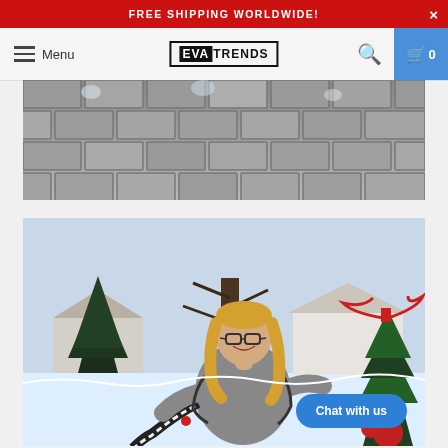FREE SHIPPING WORLDWIDE!
[Figure (screenshot): EVA Trends e-commerce website navigation bar with menu, logo, search and cart icons]
[Figure (photo): Close-up of pavement/brick paving stones in grey tones]
[Figure (photo): Woman with blonde hair and glasses smiling outdoors in a snowy winter setting with Christmas tree decorated with red ribbons, wearing a grey sweater and holding a black and white patterned scarf]
Chat with us